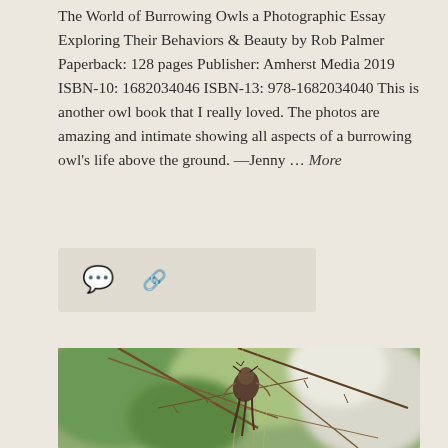The World of Burrowing Owls a Photographic Essay Exploring Their Behaviors & Beauty by Rob Palmer Paperback: 128 pages Publisher: Amherst Media 2019 ISBN-10: 1682034046 ISBN-13: 978-1682034040 This is another owl book that I really loved. The photos are amazing and intimate showing all aspects of a burrowing owl's life above the ground. —Jenny … More
[Figure (other): Social/share icon bar with comment bubble and link icons on a light beige background]
[Figure (photo): A wildlife photograph showing a small bird hanging upside-down or clinging to bare tree branches, with blurred green and white background]